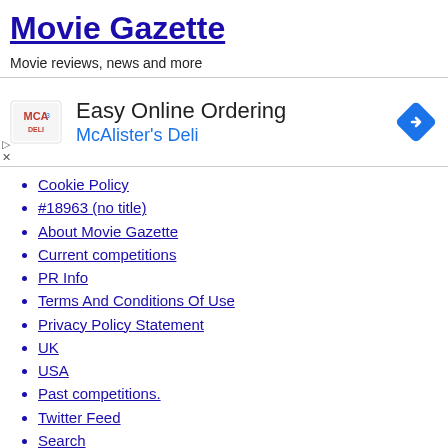Movie Gazette
Movie reviews, news and more
[Figure (infographic): McAlister's Deli advertisement banner with logo, text 'Easy Online Ordering' and 'McAlister's Deli', and a blue diamond navigation icon]
Cookie Policy
#18963 (no title)
About Movie Gazette
Current competitions
PR Info
Terms And Conditions Of Use
Privacy Policy Statement
UK
USA
Past competitions.
Twitter Feed
Search
Search Results